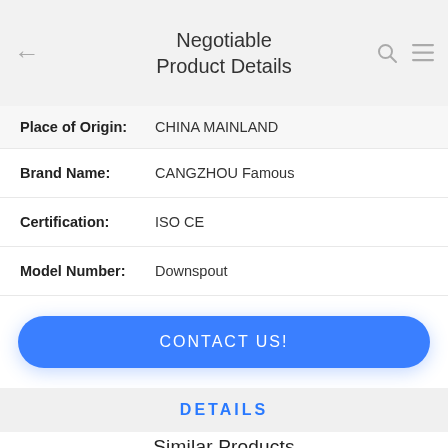Negotiable Product Details
| Field | Value |
| --- | --- |
| Place of Origin: | CHINA MAINLAND |
| Brand Name: | CANGZHOU Famous |
| Certification: | ISO CE |
| Model Number: | Downspout |
CONTACT US!
DETAILS
Similar Products
Metal GI Down Pipe